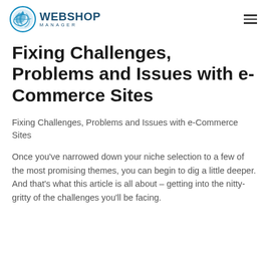WEBSHOP MANAGER
Fixing Challenges, Problems and Issues with e-Commerce Sites
Fixing Challenges, Problems and Issues with e-Commerce Sites
Once you’ve narrowed down your niche selection to a few of the most promising themes, you can begin to dig a little deeper. And that’s what this article is all about – getting into the nitty-gritty of the challenges you’ll be facing.